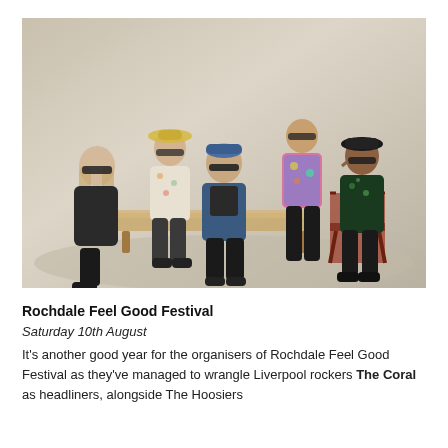[Figure (photo): Five male band members posing casually on and around a couch and a director's chair against a beige/cream studio background. They wear summer clothing and sunglasses.]
Rochdale Feel Good Festival
Saturday 10th August
It's another good year for the organisers of Rochdale Feel Good Festival as they've managed to wrangle Liverpool rockers The Coral as headliners, alongside The Hoosiers